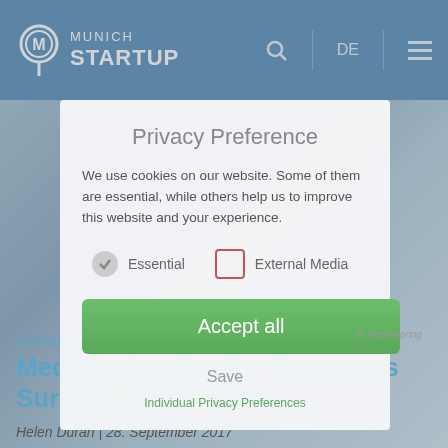[Figure (screenshot): Munich Startup website navigation bar with logo, search icon, DE language selector, and hamburger menu on blue background]
[Figure (photo): Background image of medical/surgical scene, partially visible behind modal overlay]
Privacy Preference
We use cookies on our website. Some of them are essential, while others help us to improve this website and your experience.
Essential (checked)
External Media (unchecked)
Accept all
Save
© Medineering
Individual Privacy Preferences
Medineering Profile: Robots as Surgical Assistance
Helen Duran | 28. September 2017